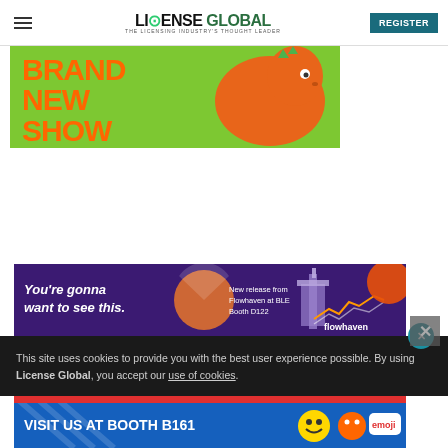LICENSE GLOBAL — THE LICENSING INDUSTRY'S THOUGHT LEADER | REGISTER
[Figure (illustration): Brand New Show advertisement — green background with orange dinosaur character and bold orange text reading BRAND NEW SHOW]
[Figure (illustration): Flowhaven purple advertisement banner — You're gonna want to see this. New release from Flowhaven at BLE Booth D122]
This site uses cookies to provide you with the best user experience possible. By using License Global, you accept our use of cookies.
[Figure (illustration): Emoji brand advertisement — VISIT US AT BOOTH B161 with emoji characters on colorful background]